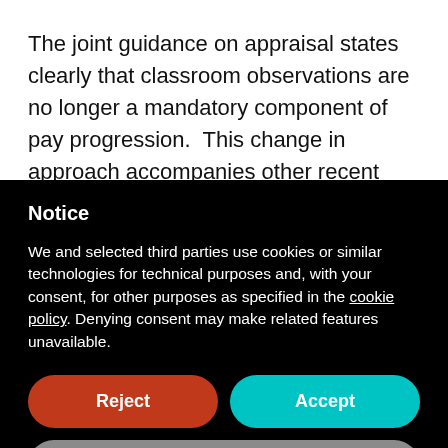The joint guidance on appraisal states clearly that classroom observations are no longer a mandatory component of pay progression.  This change in approach accompanies other recent developments such as the
Notice
We and selected third parties use cookies or similar technologies for technical purposes and, with your consent, for other purposes as specified in the cookie policy. Denying consent may make related features unavailable.
Reject
Accept
Learn more and customize